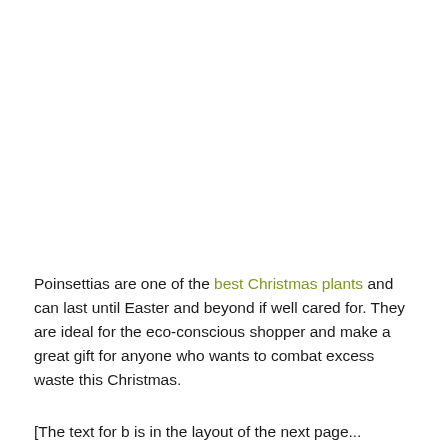Poinsettias are one of the best Christmas plants and can last until Easter and beyond if well cared for. They are ideal for the eco-conscious shopper and make a great gift for anyone who wants to combat excess waste this Christmas.
[The text for this is in the layout of the next page...